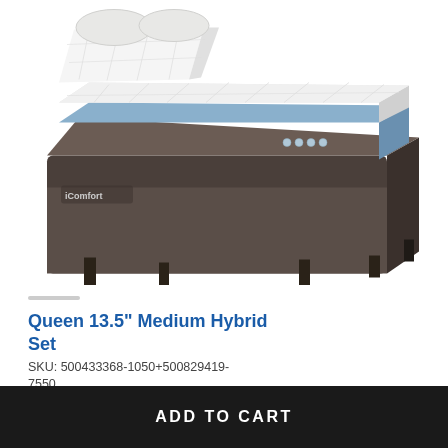[Figure (photo): A Serta iComfort Arctic 13.5 inch Medium Hybrid mattress on an adjustable power base with two pillows, shown at an angle. The mattress has a white quilted top and a blue foam layer visible on the side. The adjustable base is dark brown/charcoal and elevated at the head end.]
Queen 13.5" Medium Hybrid Set
SKU: 500433368-1050+500829419-7550
Our Price: $5,898.00
Sale Price: $4,898.00
ADD TO CART